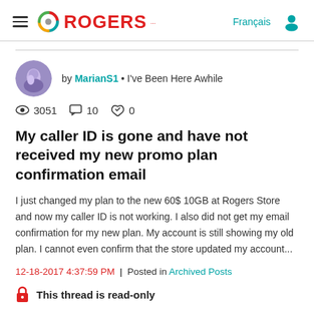ROGERS | Français
by MarianS1 • I've Been Here Awhile
3051 views  10 comments  0 likes
My caller ID is gone and have not received my new promo plan confirmation email
I just changed my plan to the new 60$ 10GB at Rogers Store and now my caller ID is not working. I also did not get my email confirmation for my new plan. My account is still showing my old plan. I cannot even confirm that the store updated my account...
12-18-2017 4:37:59 PM | Posted in Archived Posts
This thread is read-only